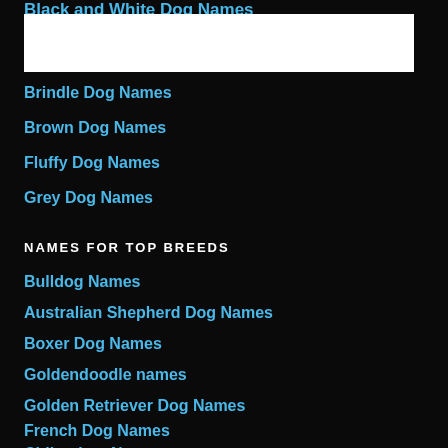Black and White Dog Names
[Figure (photo): White rectangular image box placeholder]
Brindle Dog Names
Brown Dog Names
Fluffy Dog Names
Grey Dog Names
NAMES FOR TOP BREEDS
Bulldog Names
Australian Shepherd Dog Names
Boxer Dog Names
Goldendoodle names
Golden Retriever Dog Names
French Dog Names
Chihuahua Names